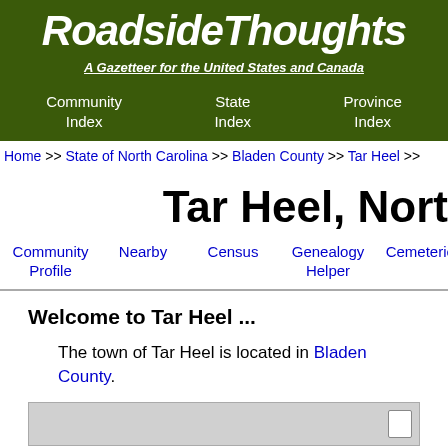RoadsideThoughts
A Gazetteer for the United States and Canada
Community Index | State Index | Province Index
Home >> State of North Carolina >> Bladen County >> Tar Heel >>
Tar Heel, Nort
Community Profile | Nearby | Census | Genealogy Helper | Cemeteries
Welcome to Tar Heel ...
The town of Tar Heel is located in Bladen County.
[Figure (map): Map thumbnail showing Tar Heel area]